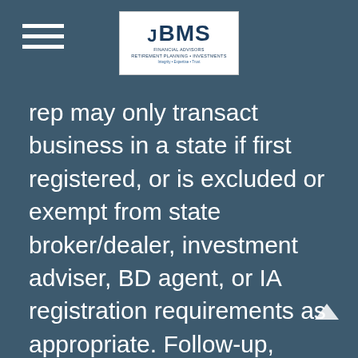BMS Financial Advisors
rep may only transact business in a state if first registered, or is excluded or exempt from state broker/dealer, investment adviser, BD agent, or IA registration requirements as appropriate. Follow-up, individualized responses to persons in a state by such a firm or individual that involve either effecting or attempting to effect transactions in securities, or the rendering of personalized investment advice for compensation, will not be made without first complying with appropriate registration requirements, or an applicable exemption or exclusion. For information concerning the licensing status or disciplinary history of a broker/dealer, investment, adviser, BD agent, or IA rep, a consumer should contact his or